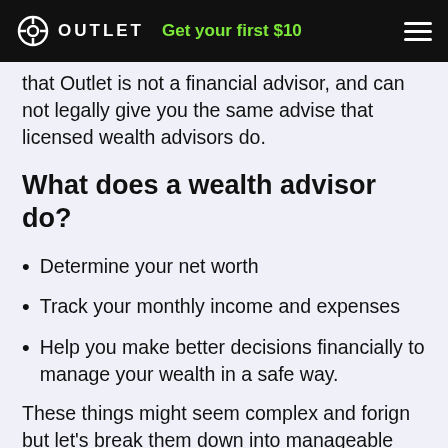OUTLET  Get your first $10
that Outlet is not a financial advisor, and can not legally give you the same advise that licensed wealth advisors do.
What does a wealth advisor do?
Determine your net worth
Track your monthly income and expenses
Help you make better decisions financially to manage your wealth in a safe way.
These things might seem complex and forign but let's break them down into manageable bites.
Your net worth is all assets minus all